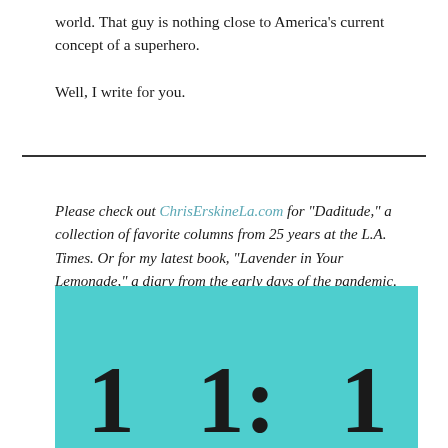world. That guy is nothing close to America's current concept of a superhero.

Well, I write for you.
Please check out ChrisErskineLa.com for “Daditude,” a collection of favorite columns from 25 years at the L.A. Times. Or for my latest book, “Lavender in Your Lemonade,” a diary from the early days of the pandemic. The website also has news of upcoming events. Coming soon: A Happy Hour Hike at LA’s best hidden lake. Cheers.
[Figure (photo): Teal/cyan colored background with large bold black numbers partially visible at the bottom of the page, appearing to be from a book cover.]